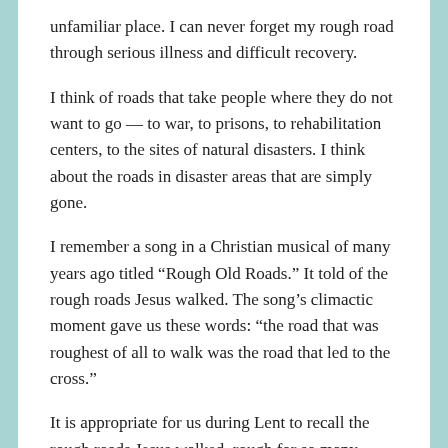unfamiliar place. I can never forget my rough road through serious illness and difficult recovery.
I think of roads that take people where they do not want to go — to war, to prisons, to rehabilitation centers, to the sites of natural disasters. I think about the roads in disaster areas that are simply gone.
I remember a song in a Christian musical of many years ago titled “Rough Old Roads.” It told of the rough roads Jesus walked. The song’s climactic moment gave us these words: “the road that was roughest of all to walk was the road that led to the cross.”
It is appropriate for us during Lent to recall the rough roads Jesus walked, rough for so many reasons: rejection, danger, soul temptation, angry crowds and lynch mobs, and ultimately the rough road that Jesus walked to the cross, to his death. To